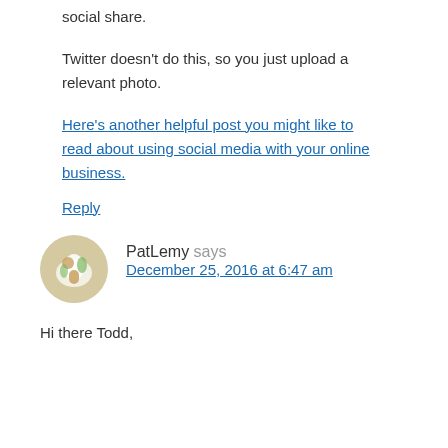social share.
Twitter doesn’t do this, so you just upload a relevant photo.
Here’s another helpful post you might like to read about using social media with your online business.
Reply
PatLemy says
December 25, 2016 at 6:47 am
Hi there Todd,